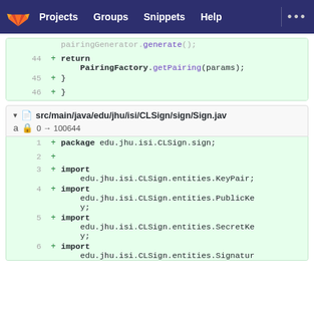GitLab navigation: Projects | Groups | Snippets | Help
[Figure (screenshot): Code diff snippet showing lines 44-46 with return PairingFactory.getPairing(params); and closing braces]
src/main/java/edu/jhu/isi/CLSign/sign/Sign.jav
0 → 100644
[Figure (screenshot): Code diff showing lines 1-6 of Sign.java: package declaration, imports for KeyPair, PublicKey, SecretKey, Signatur]